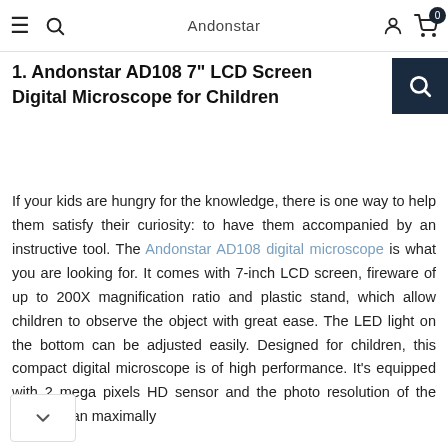Andonstar
1. Andonstar AD108 7" LCD Screen Digital Microscope for Children
If your kids are hungry for the knowledge, there is one way to help them satisfy their curiosity: to have them accompanied by an instructive tool. The Andonstar AD108 digital microscope is what you are looking for. It comes with 7-inch LCD screen, fireware of up to 200X magnification ratio and plastic stand, which allow children to observe the object with great ease. The LED light on the bottom can be adjusted easily. Designed for children, this compact digital microscope is of high performance. It's equipped with 2 mega pixels HD sensor and the photo resolution of the camera can maximally...